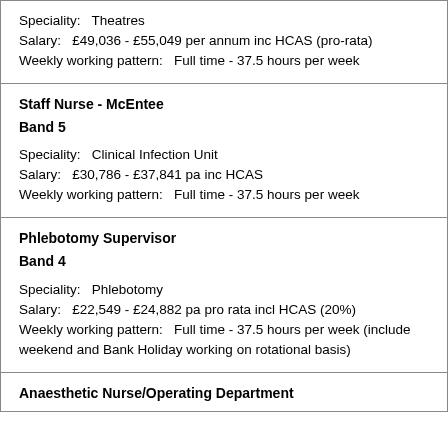| Speciality:   Theatres
Salary:   £49,036 - £55,049 per annum inc HCAS (pro-rata)
Weekly working pattern:   Full time - 37.5 hours per week |
| Staff Nurse - McEntee
Band 5
Speciality:   Clinical Infection Unit
Salary:   £30,786 - £37,841 pa inc HCAS
Weekly working pattern:   Full time - 37.5 hours per week |
| Phlebotomy Supervisor
Band 4
Speciality:   Phlebotomy
Salary:   £22,549 - £24,882 pa pro rata incl HCAS (20%)
Weekly working pattern:   Full time - 37.5 hours per week (include weekend and Bank Holiday working on rotational basis) |
| Anaesthetic Nurse/Operating Department... |